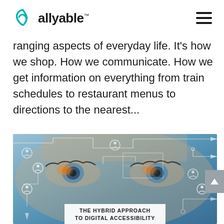allyable
ranging aspects of everyday life. It's how we shop. How we communicate. How we get information on everything from train schedules to restaurant menus to directions to the nearest...
[Figure (illustration): Close-up of a woman's eyes with digital circuit board overlay lines, person/user icons, and glowing orange highlights on the irises. Text banner at bottom reads 'THE HYBRID APPROACH TO DIGITAL ACCESSIBILITY']